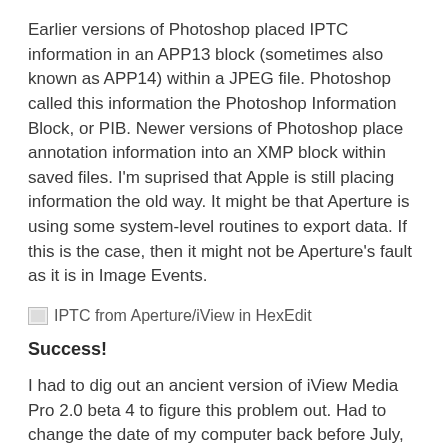Earlier versions of Photoshop placed IPTC information in an APP13 block (sometimes also known as APP14) within a JPEG file. Photoshop called this information the Photoshop Information Block, or PIB. Newer versions of Photoshop place annotation information into an XMP block within saved files. I'm suprised that Apple is still placing information the old way. It might be that Aperture is using some system-level routines to export data. If this is the case, then it might not be Aperture's fault as it is in Image Events.
[Figure (screenshot): Broken image placeholder with alt text: IPTC from Aperture/iView in HexEdit]
Success!
I had to dig out an ancient version of iView Media Pro 2.0 beta 4 to figure this problem out. Had to change the date of my computer back before July, 2002 to get the iView 2.0 beta to launch! Take a look at how this old version of iView...